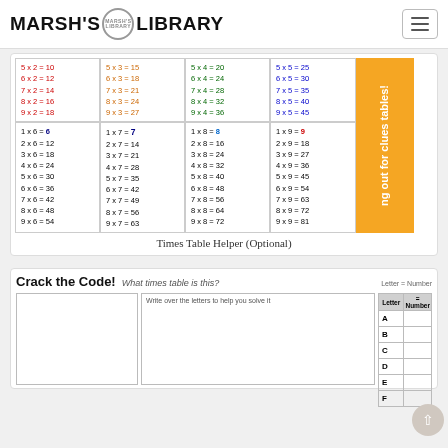MARSH'S LIBRARY
[Figure (other): Times table helper chart showing multiplication tables 2-9 in a colored grid with an orange sidebar banner reading 'ng out for clues tables!']
Times Table Helper (Optional)
[Figure (other): Crack the Code! worksheet with header 'What times table is this?', letter-to-number table with rows A, B, C, D, E, F, a left box for code, and middle box with instruction 'Write over the letters to help you solve it']